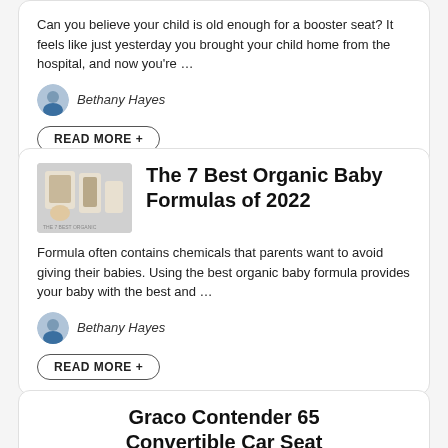Can you believe your child is old enough for a booster seat? It feels like just yesterday you brought your child home from the hospital, and now you're …
Bethany Hayes
READ MORE +
The 7 Best Organic Baby Formulas of 2022
Formula often contains chemicals that parents want to avoid giving their babies. Using the best organic baby formula provides your baby with the best and …
Bethany Hayes
READ MORE +
Graco Contender 65 Convertible Car Seat